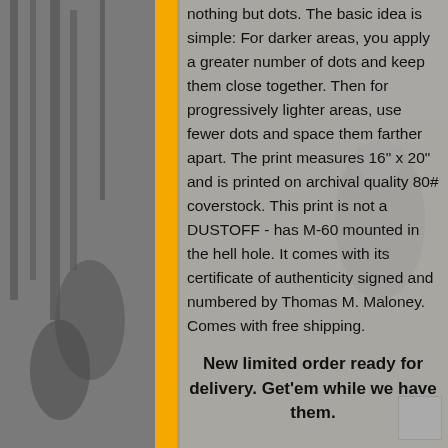[Figure (photo): Black and white background photo showing soldiers/people in a field scene, partially obscured by yellow bar and text overlay]
nothing but dots. The basic idea is simple: For darker areas, you apply a greater number of dots and keep them close together. Then for progressively lighter areas, use fewer dots and space them farther apart. The print measures 16" x 20" and is printed on archival quality 80# coverstock. This print is not a DUSTOFF - has M-60 mounted in the hell hole. It comes with its certificate of authenticity signed and numbered by Thomas M. Maloney. Comes with free shipping.
New limited order ready for delivery. Get'em while we have them.